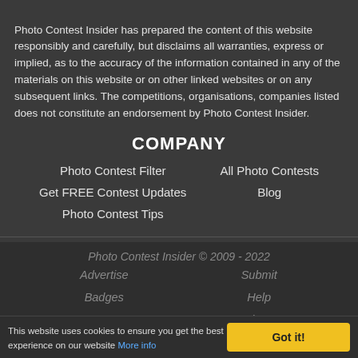Photo Contest Insider has prepared the content of this website responsibly and carefully, but disclaims all warranties, express or implied, as to the accuracy of the information contained in any of the materials on this website or on other linked websites or on any subsequent links. The competitions, organisations, companies listed does not constitute an endorsement by Photo Contest Insider.
COMPANY
Photo Contest Filter
All Photo Contests
Get FREE Contest Updates
Blog
Photo Contest Tips
Photo Contest Insider © 2009 - 2022
Advertise
Submit
Badges
Help
Terms
Privacy
This website uses cookies to ensure you get the best experience on our website More info